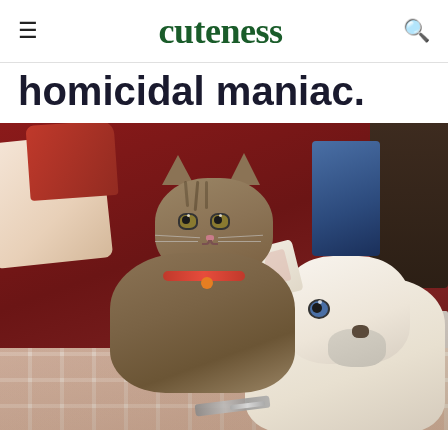cuteness
homicidal maniac.
[Figure (photo): A tabby cat and a white husky dog resting together on a red couch with a plaid blanket. The cat is wearing a red collar with an orange tag, and the dog has blue eyes. There are pillows and a nightstand visible in the background.]